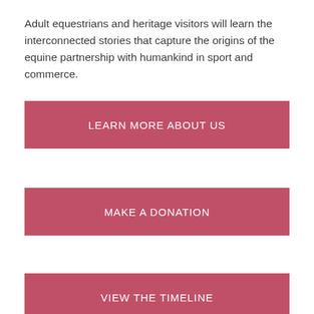Adult equestrians and heritage visitors will learn the interconnected stories that capture the origins of the equine partnership with humankind in sport and commerce.
LEARN MORE ABOUT US
MAKE A DONATION
VIEW THE TIMELINE